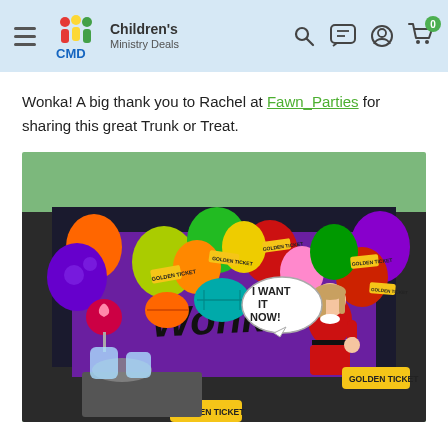Children's Ministry Deals
Wonka! A big thank you to Rachel at Fawn_Parties for sharing this great Trunk or Treat.
[Figure (photo): A colorful Wonka-themed Trunk or Treat display featuring a car trunk filled with balloons in multiple colors, paper lanterns, and Golden Ticket decorations. A young girl in a red dress stands in front holding a thumbs up, with a speech bubble reading 'I WANT IT NOW!' and a GOLDEN TICKET sign. The trunk background has 'WONKA' lettering in black.]